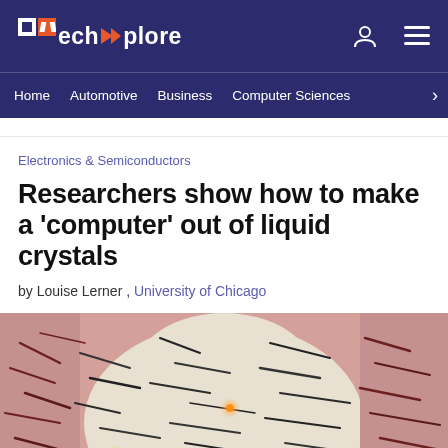TechXplore — Home | Automotive | Business | Computer Sciences
Electronics & Semiconductors
Researchers show how to make a 'computer' out of liquid crystals
by Louise Lerner , University of Chicago
[Figure (photo): Microscopy image of liquid crystal patterns showing dark needle-like streaks against a light beige/pink background, representing defect patterns in liquid crystal material]